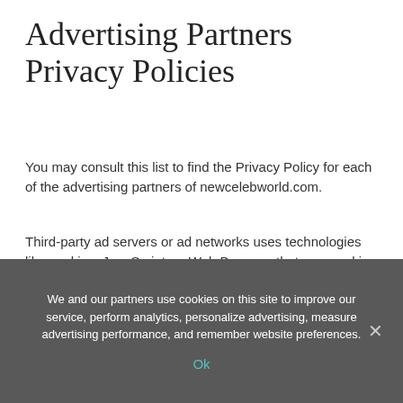Advertising Partners Privacy Policies
You may consult this list to find the Privacy Policy for each of the advertising partners of newcelebworld.com.
Third-party ad servers or ad networks uses technologies like cookies, JavaScript, or Web Beacons that are used in their respective advertisements and links that appear on newcelebworld.com, which are sent directly to users' browser. They automatically receive your IP address when this occurs. These technologies are used to measure the effectiveness of their advertising campaigns and/or to personalize the advertising content that you see on websites that you visit.
We and our partners use cookies on this site to improve our service, perform analytics, personalize advertising, measure advertising performance, and remember website preferences.
Ok